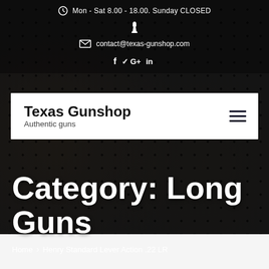Mon - Sat 8.00 - 18.00. Sunday CLOSED
contact@texas-gunshop.com
[Figure (screenshot): Social media icons: Facebook, Twitter, Google+, LinkedIn]
Texas Gunshop
Authentic guns
Category: Long Guns
Home > Henry Standard Lever Action .22 LR